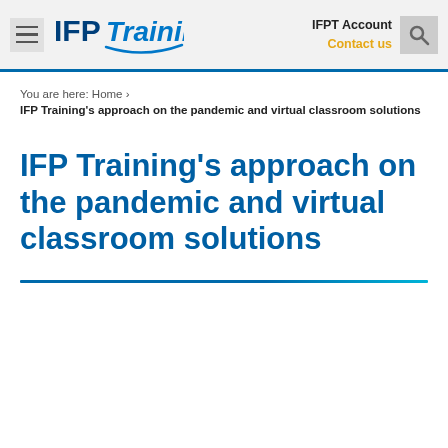IFP Training — IFPT Account | Contact us
You are here: Home ›
IFP Training's approach on the pandemic and virtual classroom solutions
IFP Training's approach on the pandemic and virtual classroom solutions